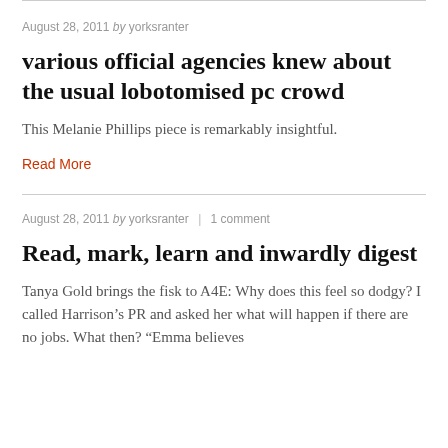August 28, 2011 by yorksranter
various official agencies knew about the usual lobotomised pc crowd
This Melanie Phillips piece is remarkably insightful.
Read More
August 28, 2011 by yorksranter | 1 comment
Read, mark, learn and inwardly digest
Tanya Gold brings the fisk to A4E: Why does this feel so dodgy? I called Harrison’s PR and asked her what will happen if there are no jobs. What then? “Emma believes